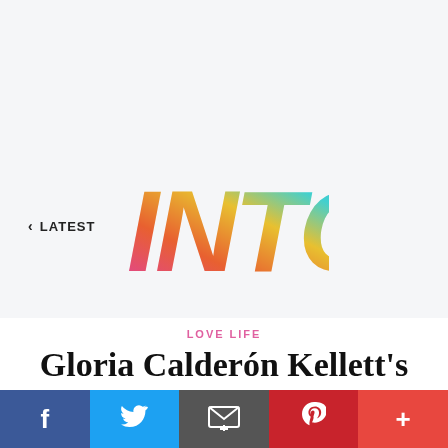[Figure (logo): INTO magazine logo — stylized handwritten 'INTO' text with rainbow gradient from pink/magenta on the left to orange/yellow at top and cyan/blue on the right]
< LATEST
LOVE LIFE
Gloria Calderón Kellett's Queer, Latine Holiday
[Figure (infographic): Social sharing bar with five buttons: Facebook (dark blue), Twitter (light blue), Email (dark gray), Pinterest (red), More/plus (orange-red)]